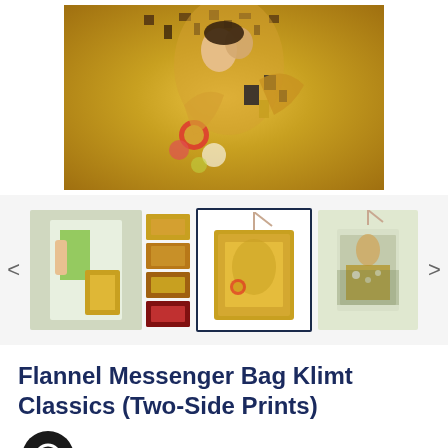[Figure (photo): Main product image showing a flannel messenger bag with Klimt's 'The Kiss' painting printed on it, golden/warm color tones]
[Figure (photo): Thumbnail carousel showing multiple product images: left group shows person wearing bag and 4 small thumbnails, center shows selected bag front view with Klimt The Kiss print, right shows bag with different Klimt print. Navigation arrows on left and right.]
Flannel Messenger Bag Klimt Classics (Two-Side Prints)
$28.00 $33.00 SALE
Tax included